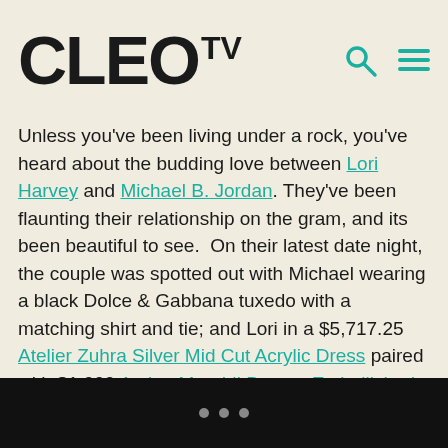CLEO TV
Unless you’ve been living under a rock, you’ve heard about the budding love between Lori Harvey and Michael B. Jordan. They’ve been flaunting their relationship on the gram, and its been beautiful to see.  On their latest date night, the couple was spotted out with Michael wearing a black Dolce & Gabbana tuxedo with a matching shirt and tie; and Lori in a $5,717.25 Atelier Zuhra Silver Mid Cut Acrylic Dress paired with $1,000 Amina Muaddi Begum Embellished PVC Pumps.
• • •